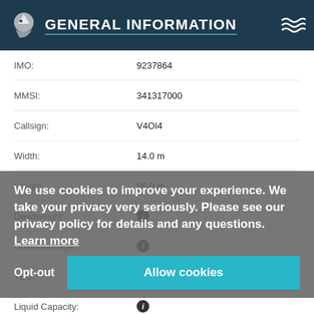GENERAL INFORMATION
| Field | Value |
| --- | --- |
| IMO: | 9237864 |
| MMSI: | 341317000 |
| Callsign: | V4OI4 |
| Width: | 14.0 m |
| Length: | 96.0 m |
| Deadweight: | [info] |
| Gross tonnage: | [info] |
| TEU: | [info] |
| Liquid Capacity: | [info] |
| Year of build: | [info] |
| Class: | [info] |
| AIS type: | Tankship |
| Ship type: | [info] |
| Flag: | Saint Kitts and Nevis |
| Builder: | [info] |
| Owner: | [info] |
| Operator: | [info] |
| Insurer: |  |
We use cookies to improve your experience. We take your privacy very seriously. Please see our privacy policy for details and any questions. Learn more
Opt-out
Allow cookies